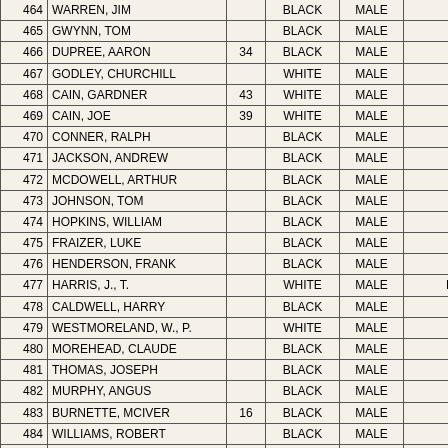| # | Name | Age | Race | Sex | Occupation |
| --- | --- | --- | --- | --- | --- |
| 464 | WARREN, JIM |  | BLACK | MALE | LABORI... |
| 465 | GWYNN, TOM |  | BLACK | MALE | LABORI... |
| 466 | DUPREE, AARON | 34 | BLACK | MALE | LABORI... |
| 467 | GODLEY, CHURCHILL |  | WHITE | MALE | LABORI... |
| 468 | CAIN, GARDNER | 43 | WHITE | MALE | LABORI... |
| 469 | CAIN, JOE | 39 | WHITE | MALE | LABORI... |
| 470 | CONNER, RALPH |  | BLACK | MALE | LABORI... |
| 471 | JACKSON, ANDREW |  | BLACK | MALE | ? |
| 472 | MCDOWELL, ARTHUR |  | BLACK | MALE | ? |
| 473 | JOHNSON, TOM |  | BLACK | MALE | ? |
| 474 | HOPKINS, WILLIAM |  | BLACK | MALE | ? |
| 475 | FRAIZER, LUKE |  | BLACK | MALE | ? |
| 476 | HENDERSON, FRANK |  | BLACK | MALE | ? |
| 477 | HARRIS, J., T. |  | WHITE | MALE | MERCHA... |
| 478 | CALDWELL, HARRY |  | BLACK | MALE | ? |
| 479 | WESTMORELAND, W., P. |  | WHITE | MALE | ? |
| 480 | MOREHEAD, CLAUDE |  | BLACK | MALE | ? |
| 481 | THOMAS, JOSEPH |  | BLACK | MALE | ? |
| 482 | MURPHY, ANGUS |  | BLACK | MALE | ? |
| 483 | BURNETTE, MCIVER | 16 | BLACK | MALE | ? |
| 484 | WILLIAMS, ROBERT |  | BLACK | MALE | ? |
| 485 | HARDISON, WILLIS |  | BLACK | MALE | ? |
| 486 | PERRY, WILEY |  | BLACK | MALE | BOOTLEG... |
| 487 | NOBLES, D., M. |  | WHITE | MALE | ? |
| 488 | DILL, ED |  | BLACK | MALE | FARM HA... |
| 489 | MILLER, JIM |  | BLACK | MALE | ? |
| 490 | GOSS, JOHN |  | BLACK | MALE | CONVICT F... |